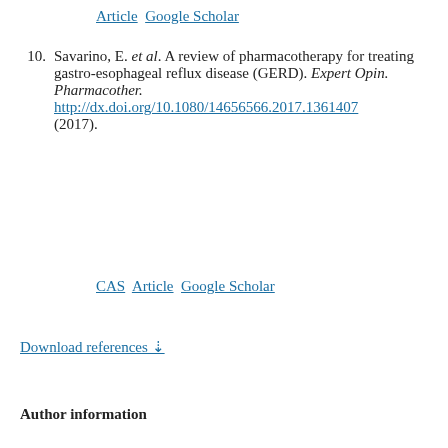Article  Google Scholar
10. Savarino, E. et al. A review of pharmacotherapy for treating gastro-esophageal reflux disease (GERD). Expert Opin. Pharmacother. http://dx.doi.org/10.1080/14656566.2017.1361407 (2017).
CAS  Article  Google Scholar
Download references ↓
Author information